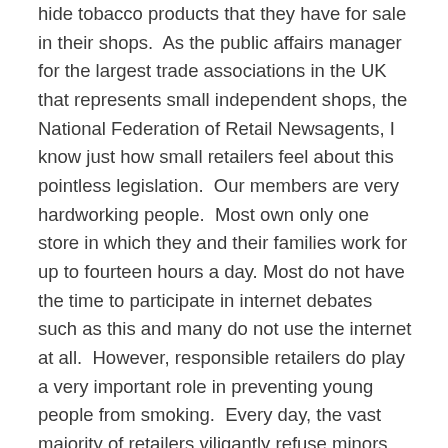hide tobacco products that they have for sale in their shops.  As the public affairs manager for the largest trade associations in the UK that represents small independent shops, the National Federation of Retail Newsagents, I know just how small retailers feel about this pointless legislation.  Our members are very hardworking people.  Most own only one store in which they and their families work for up to fourteen hours a day. Most do not have the time to participate in internet debates such as this and many do not use the internet at all.  However, responsible retailers do play a very important role in preventing young people from smoking.  Every day, the vast majority of retailers viligantly refuse minors